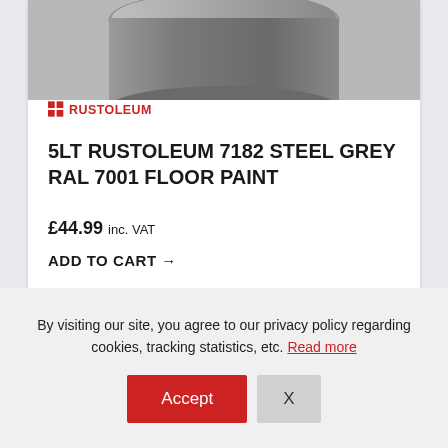[Figure (photo): Grey paint tin (Rustoleum 7182 Steel Grey) viewed from above-side angle, showing lid and body. Rustoleum logo visible on tin.]
5LT RUSTOLEUM 7182 STEEL GREY RAL 7001 FLOOR PAINT
£44.99 inc. VAT
ADD TO CART →
[Figure (screenshot): Bottom partial product listing showing a red brand badge with circle icon, a triangle/pyramid shape in center, and a red Sale! badge on the right.]
By visiting our site, you agree to our privacy policy regarding cookies, tracking statistics, etc. Read more
Accept
X